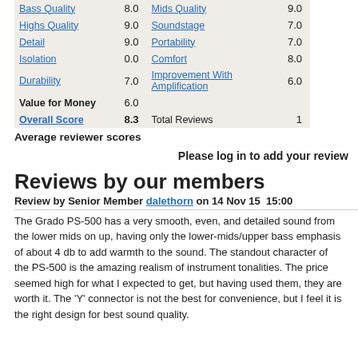| Attribute | Score | Attribute | Score |
| --- | --- | --- | --- |
| Bass Quality | 8.0 | Mids Quality | 9.0 |
| Highs Quality | 9.0 | Soundstage | 7.0 |
| Detail | 9.0 | Portability | 7.0 |
| Isolation | 0.0 | Comfort | 8.0 |
| Durability | 7.0 | Improvement With Amplification | 6.0 |
| Value for Money | 6.0 |  |  |
| Overall Score | 8.3 | Total Reviews | 1 |
Average reviewer scores
Please log in to add your review
Reviews by our members
Review by Senior Member dalethorn on 14 Nov 15  15:00
The Grado PS-500 has a very smooth, even, and detailed sound from the lower mids on up, having only the lower-mids/upper bass emphasis of about 4 db to add warmth to the sound. The standout character of the PS-500 is the amazing realism of instrument tonalities. The price seemed high for what I expected to get, but having used them, they are worth it. The 'Y' connector is not the best for convenience, but I feel it is the right design for best sound quality.